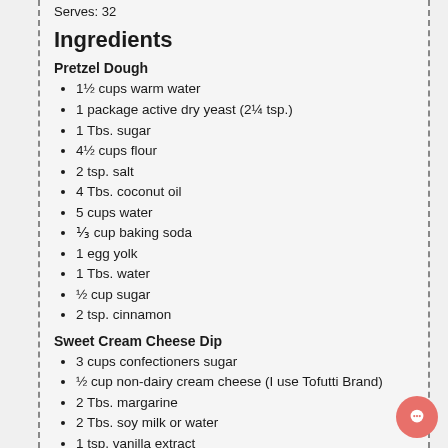Serves: 32
Ingredients
Pretzel Dough
1½ cups warm water
1 package active dry yeast (2¼ tsp.)
1 Tbs. sugar
4½ cups flour
2 tsp. salt
4 Tbs. coconut oil
5 cups water
⅓ cup baking soda
1 egg yolk
1 Tbs. water
½ cup sugar
2 tsp. cinnamon
Sweet Cream Cheese Dip
3 cups confectioners sugar
½ cup non-dairy cream cheese (I use Tofutti Brand)
2 Tbs. margarine
2 Tbs. soy milk or water
1 tsp. vanilla extract
Instructions
Pretzel Dough